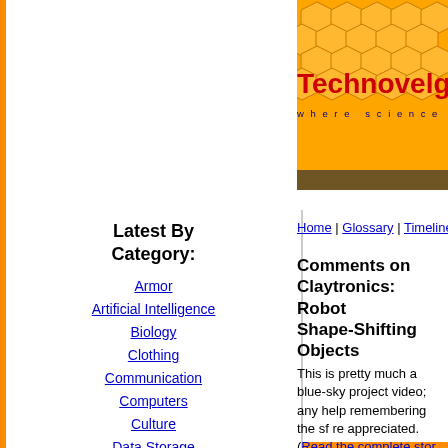Technovelgu — where science meets
Home | Glossary | Timeline | New
Latest By Category:
Armor
Artificial Intelligence
Biology
Clothing
Communication
Computers
Culture
Data Storage
Displays
Engineering
Entertainment
Food
Input Devices
Lifestyle
Living Space
Manufacturing
Material
Media
Medical
Miscellaneous
Comments on Claytronics: Robots as Shape-Shifting Objects
This is pretty much a blue-sky project video; any help remembering the sf re appreciated. (Read the complete stor
"If anyone watches Stargate, the recognize this technology. In th type of technology created an ad beings called the Replicators, w been the villains on the show. O started out as blocks in the sha later moved on to nanites taking seems we're jumping the gun on r (Firedrake 2/1/2008 6:42:23 AM)
"Here's a picture of the Replica
[Figure (photo): Dark image, possibly showing Replicators from Stargate]